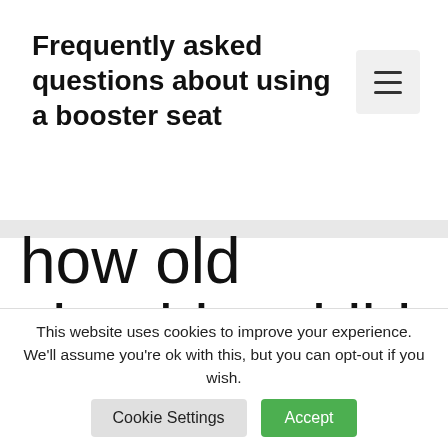Frequently asked questions about using a booster seat
how old should a child be for a sit
This website uses cookies to improve your experience. We'll assume you're ok with this, but you can opt-out if you wish.